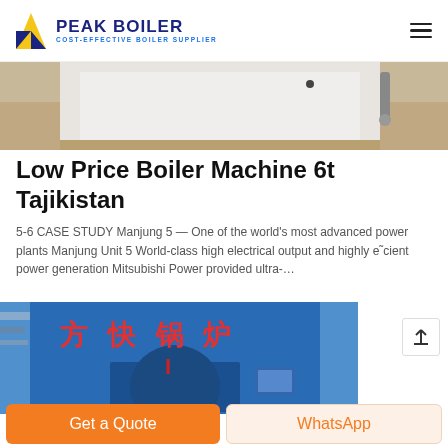PEAK BOILER — COST-EFFECTIVE BOILER SUPPLIER
[Figure (photo): Partial view of industrial equipment, beige/tan background, cropped at top]
Low Price Boiler Machine 6t Tajikistan
5-6 CASE STUDY Manjung 5 — One of the world's most advanced power plants Manjung Unit 5 World-class high electrical output and highly e˜cient power generation Mitsubishi Power provided ultra-…
[Figure (photo): Blue industrial boiler unit with Chinese text reading 方快锅炉 (Fang Kuai Boiler) in red characters on the front panel]
Get a Quote
WhatsApp